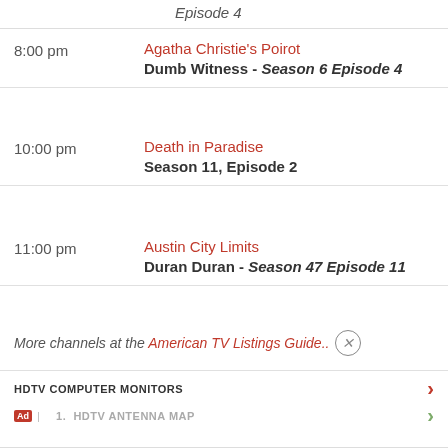Episode 4
8:00 pm — Agatha Christie's Poirot — Dumb Witness - Season 6 Episode 4
10:00 pm — Death in Paradise — Season 11, Episode 2
11:00 pm — Austin City Limits — Duran Duran - Season 47 Episode 11
More channels at the American TV Listings Guide..
HDTV COMPUTER MONITORS
1. HDTV ANTENNA MAP